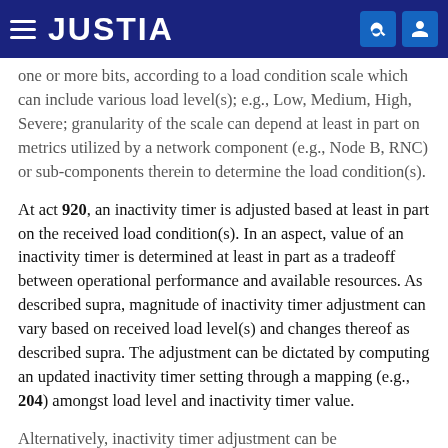JUSTIA
one or more bits, according to a load condition scale which can include various load level(s); e.g., Low, Medium, High, Severe; granularity of the scale can depend at least in part on metrics utilized by a network component (e.g., Node B, RNC) or sub-components therein to determine the load condition(s).
At act 920, an inactivity timer is adjusted based at least in part on the received load condition(s). In an aspect, value of an inactivity timer is determined at least in part as a tradeoff between operational performance and available resources. As described supra, magnitude of inactivity timer adjustment can vary based on received load level(s) and changes thereof as described supra. The adjustment can be dictated by computing an updated inactivity timer setting through a mapping (e.g., 204) amongst load level and inactivity timer value.
Alternatively, inactivity timer adjustment can be